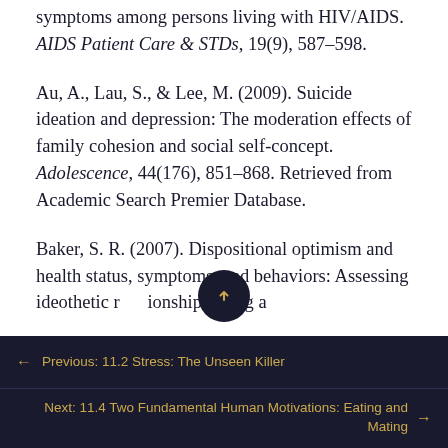symptoms among persons living with HIV/AIDS. AIDS Patient Care & STDs, 19(9), 587–598.
Au, A., Lau, S., & Lee, M. (2009). Suicide ideation and depression: The moderation effects of family cohesion and social self-concept. Adolescence, 44(176), 851–868. Retrieved from Academic Search Premier Database.
Baker, S. R. (2007). Dispositional optimism and health status, symptoms, and behaviors: Assessing ideothetic relationships using a
← Previous: 11.2 Stress: The Unseen Killer
Next: 11.4 Two Fundamental Human Motivations: Eating and Mating →